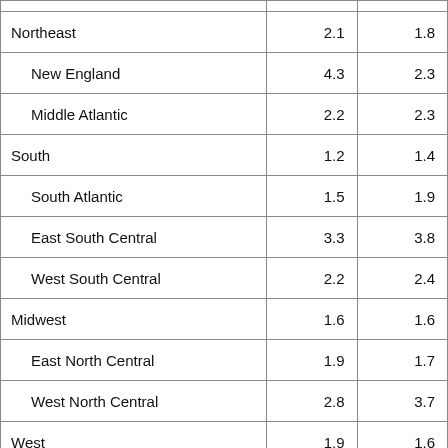| Region | Col1 | Col2 |
| --- | --- | --- |
| Northeast | 2.1 | 1.8 |
| New England | 4.3 | 2.3 |
| Middle Atlantic | 2.2 | 2.3 |
| South | 1.2 | 1.4 |
| South Atlantic | 1.5 | 1.9 |
| East South Central | 3.3 | 3.8 |
| West South Central | 2.2 | 2.4 |
| Midwest | 1.6 | 1.6 |
| East North Central | 1.9 | 1.7 |
| West North Central | 2.8 | 3.7 |
| West | 1.9 | 1.6 |